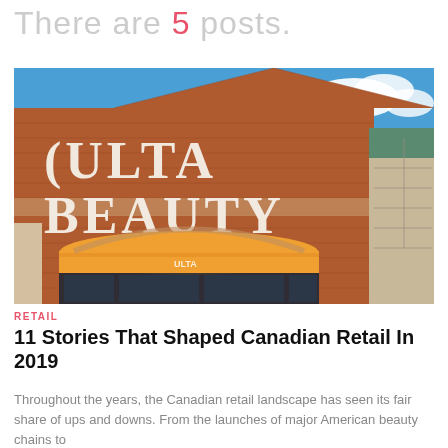There are 5 posts.
[Figure (photo): Exterior of an Ulta Beauty retail store, showing brick facade with large white ULTA BEAUTY signage, orange awning over entrance, and blue sky with clouds.]
RETAIL
11 Stories That Shaped Canadian Retail In 2019
Throughout the years, the Canadian retail landscape has seen its fair share of ups and downs. From the launches of major American beauty chains to